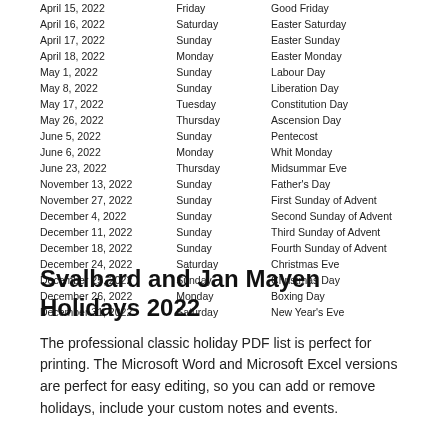| April 15, 2022 | Friday | Good Friday |
| April 16, 2022 | Saturday | Easter Saturday |
| April 17, 2022 | Sunday | Easter Sunday |
| April 18, 2022 | Monday | Easter Monday |
| May 1, 2022 | Sunday | Labour Day |
| May 8, 2022 | Sunday | Liberation Day |
| May 17, 2022 | Tuesday | Constitution Day |
| May 26, 2022 | Thursday | Ascension Day |
| June 5, 2022 | Sunday | Pentecost |
| June 6, 2022 | Monday | Whit Monday |
| June 23, 2022 | Thursday | Midsummar Eve |
| November 13, 2022 | Sunday | Father's Day |
| November 27, 2022 | Sunday | First Sunday of Advent |
| December 4, 2022 | Sunday | Second Sunday of Advent |
| December 11, 2022 | Sunday | Third Sunday of Advent |
| December 18, 2022 | Sunday | Fourth Sunday of Advent |
| December 24, 2022 | Saturday | Christmas Eve |
| December 25, 2022 | Sunday | Christmas Day |
| December 26, 2022 | Monday | Boxing Day |
| December 31, 2022 | Saturday | New Year's Eve |
Svalbard and Jan Mayen Holidays 2022
The professional classic holiday PDF list is perfect for printing. The Microsoft Word and Microsoft Excel versions are perfect for easy editing, so you can add or remove holidays, include your custom notes and events.